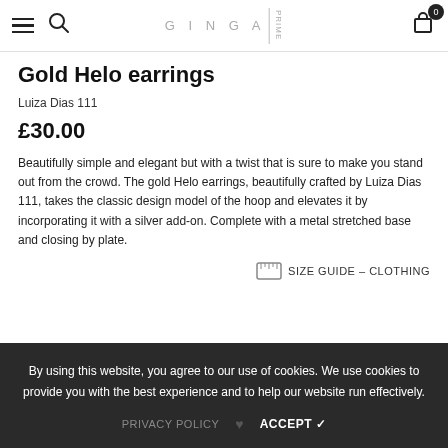GINGA PRIME
Gold Helo earrings
Luiza Dias 111
£30.00
Beautifully simple and elegant but with a twist that is sure to make you stand out from the crowd. The gold Helo earrings, beautifully crafted by Luiza Dias 111, takes the classic design model of the hoop and elevates it by incorporating it with a silver add-on. Complete with a metal stretched base and closing by plate.
SIZE GUIDE – CLOTHING
By using this website, you agree to our use of cookies. We use cookies to provide you with the best experience and to help our website run effectively.
PRIVACY POLICY  ACCEPT ✓